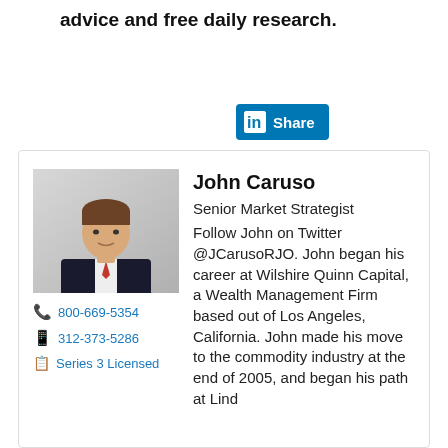advice and free daily research.
[Figure (other): LinkedIn Share button]
[Figure (photo): Profile photo of John Caruso, a man in a dark suit with a red tie, professional headshot against a light background]
800-669-5354
312-373-5286
Series 3 Licensed
John Caruso
Senior Market Strategist
Follow John on Twitter @JCarusoRJO. John began his career at Wilshire Quinn Capital, a Wealth Management Firm based out of Los Angeles, California. John made his move to the commodity industry at the end of 2005, and began his path at Lind